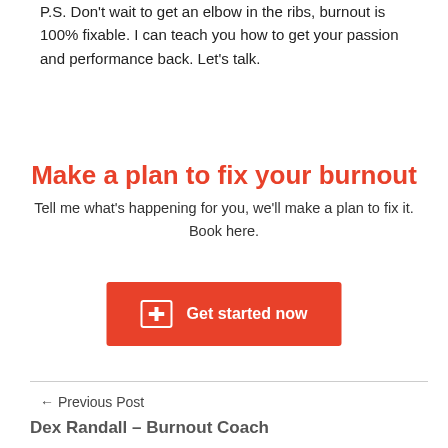P.S. Don't wait to get an elbow in the ribs, burnout is 100% fixable. I can teach you how to get your passion and performance back. Let's talk.
Make a plan to fix your burnout
Tell me what's happening for you, we'll make a plan to fix it. Book here.
[Figure (other): Red CTA button with first aid icon and text 'Get started now']
← Previous Post
Dex Randall – Burnout Coach